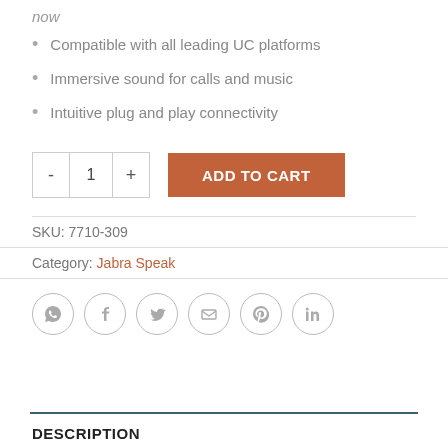now
Compatible with all leading UC platforms
Immersive sound for calls and music
Intuitive plug and play connectivity
- 1 + ADD TO CART
SKU: 7710-309
Category: Jabra Speak
[Figure (other): Social share icons: WhatsApp, Facebook, Twitter, Email, Pinterest, LinkedIn]
DESCRIPTION